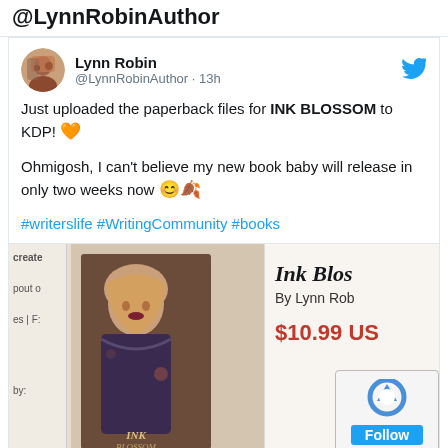@LynnRobinAuthor
Lynn Robin @LynnRobinAuthor · 13h
Just uploaded the paperback files for INK BLOSSOM to KDP! 🧡

Ohmigosh, I can't believe my new book baby will release in only two weeks now 😊🍂

#writerslife #WritingCommunity #books
[Figure (photo): Photo of the book 'Ink Blossom' by Lynn Robin displayed on a screen/tablet showing the cover with a girl, priced at $10.99 US, with KDP create page visible on the side]